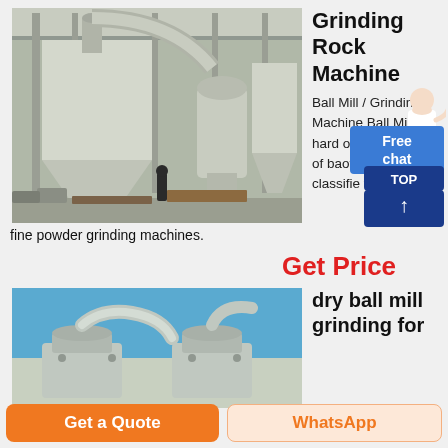[Figure (photo): Industrial grinding/milling facility with large silo and dust collector equipment inside a warehouse building, workers visible]
Grinding Rock Machine
Ball Mill / Grinding Machine Ball Mill For hard ore and rock ore of baofeng .. Ba + Air classifie from rock a-
fine powder grinding machines.
Get Price
[Figure (photo): Industrial dry ball mill grinding equipment on outdoor platform against blue sky]
dry ball mill grinding for
Get a Quote
WhatsApp